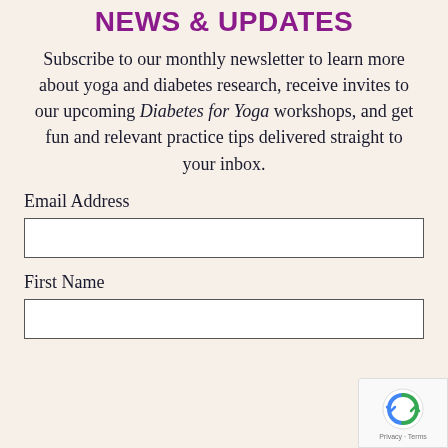NEWS & UPDATES
Subscribe to our monthly newsletter to learn more about yoga and diabetes research, receive invites to our upcoming Diabetes for Yoga workshops, and get fun and relevant practice tips delivered straight to your inbox.
Email Address
First Name